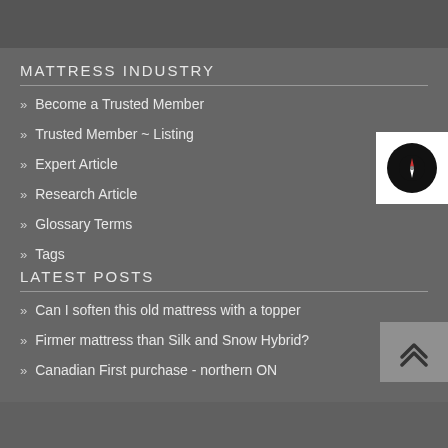MATTRESS INDUSTRY
Become a Trusted Member
Trusted Member ~ Listing
Expert Article
Research Article
Glossary Terms
Tags
LATEST POSTS
Can I soften this old mattress with a topper
Firmer mattress than Silk and Snow Hybrid?
Canadian First purchase - northern ON